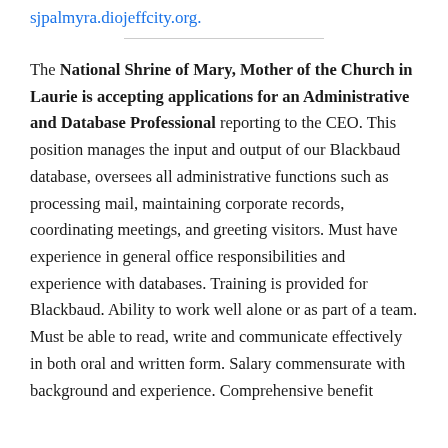sjpalmyra.diojeffcity.org.
The National Shrine of Mary, Mother of the Church in Laurie is accepting applications for an Administrative and Database Professional reporting to the CEO. This position manages the input and output of our Blackbaud database, oversees all administrative functions such as processing mail, maintaining corporate records, coordinating meetings, and greeting visitors. Must have experience in general office responsibilities and experience with databases. Training is provided for Blackbaud. Ability to work well alone or as part of a team. Must be able to read, write and communicate effectively in both oral and written form. Salary commensurate with background and experience. Comprehensive benefit